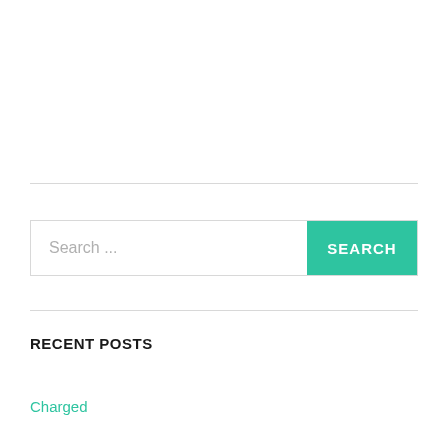[Figure (screenshot): Search bar with placeholder text 'Search ...' and a teal 'SEARCH' button on the right]
RECENT POSTS
Charged